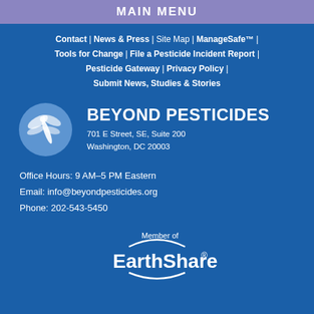MAIN MENU
Contact | News & Press | Site Map | ManageSafe™ | Tools for Change | File a Pesticide Incident Report | Pesticide Gateway | Privacy Policy | Submit News, Studies & Stories
[Figure (logo): Beyond Pesticides logo with dragonfly icon and organization name, address: 701 E Street, SE, Suite 200, Washington, DC 20003]
Office Hours: 9 AM–5 PM Eastern
Email: info@beyondpesticides.org
Phone: 202-543-5450
[Figure (logo): Member of EarthShare logo with circular arc design]